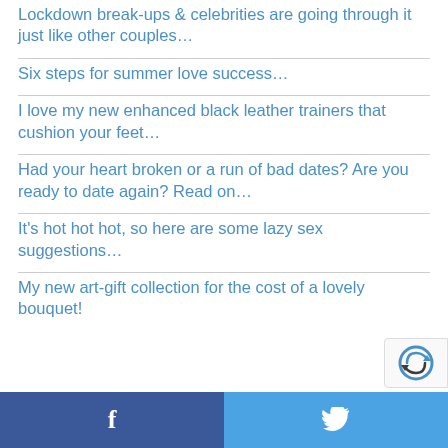Lockdown break-ups & celebrities are going through it just like other couples…
Six steps for summer love success…
I love my new enhanced black leather trainers that cushion your feet…
Had your heart broken or a run of bad dates? Are you ready to date again? Read on…
It's hot hot hot, so here are some lazy sex suggestions…
My new art-gift collection for the cost of a lovely bouquet!
f  [Twitter bird icon]